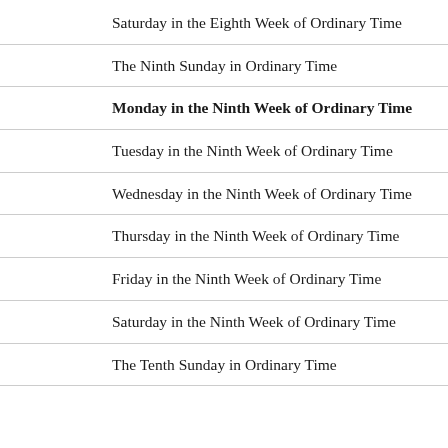Saturday in the Eighth Week of Ordinary Time
The Ninth Sunday in Ordinary Time
Monday in the Ninth Week of Ordinary Time
Tuesday in the Ninth Week of Ordinary Time
Wednesday in the Ninth Week of Ordinary Time
Thursday in the Ninth Week of Ordinary Time
Friday in the Ninth Week of Ordinary Time
Saturday in the Ninth Week of Ordinary Time
The Tenth Sunday in Ordinary Time